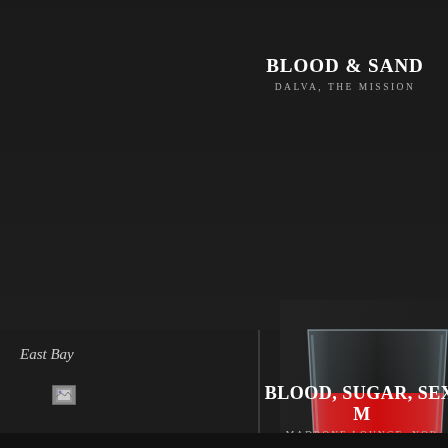BLOOD & SAND
DALVA, THE MISSION
[Figure (photo): Cocktail glass with layered drink showing black top layer, bright red middle layer, and amber/golden bottom layer, on a dark background]
East Bay
BLOOD, SUGAR, SEX, M
MADRONE LOUNGE, NOB